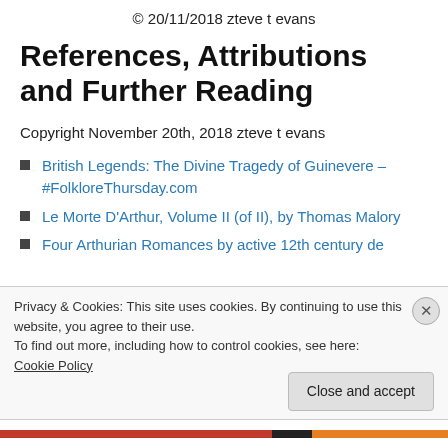© 20/11/2018 zteve t evans
References, Attributions and Further Reading
Copyright November 20th, 2018 zteve t evans
British Legends: The Divine Tragedy of Guinevere – #FolkloreThursday.com
Le Morte D'Arthur, Volume II (of II), by Thomas Malory
Four Arthurian Romances by active 12th century de
Privacy & Cookies: This site uses cookies. By continuing to use this website, you agree to their use.
To find out more, including how to control cookies, see here: Cookie Policy